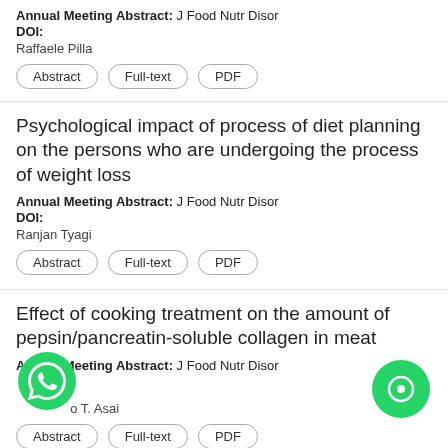Annual Meeting Abstract: J Food Nutr Disor
DOI:
Raffaele Pilla
Abstract | Full-text | PDF
Psychological impact of process of diet planning on the persons who are undergoing the process of weight loss
Annual Meeting Abstract: J Food Nutr Disor
DOI:
Ranjan Tyagi
Abstract | Full-text | PDF
Effect of cooking treatment on the amount of pepsin/pancreatin-soluble collagen in meat
Annual Meeting Abstract: J Food Nutr Disor
o T. Asai
Abstract | Full-text | PDF